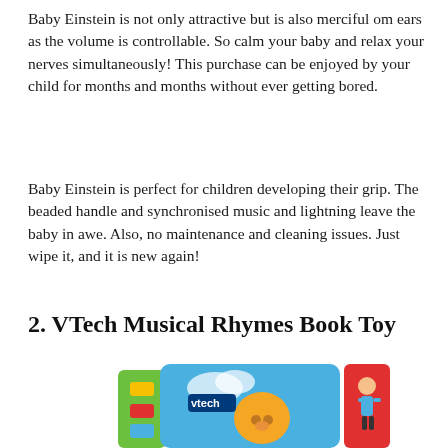Baby Einstein is not only attractive but is also merciful om ears as the volume is controllable. So calm your baby and relax your nerves simultaneously! This purchase can be enjoyed by your child for months and months without ever getting bored.
Baby Einstein is perfect for children developing their grip. The beaded handle and synchronised music and lightning leave the baby in awe. Also, no maintenance and cleaning issues. Just wipe it, and it is new again!
2. VTech Musical Rhymes Book Toy
[Figure (photo): Partial view of a VTech Musical Rhymes Book Toy showing colorful blocks, a bear illustration, and the VTech logo on the blue book cover]